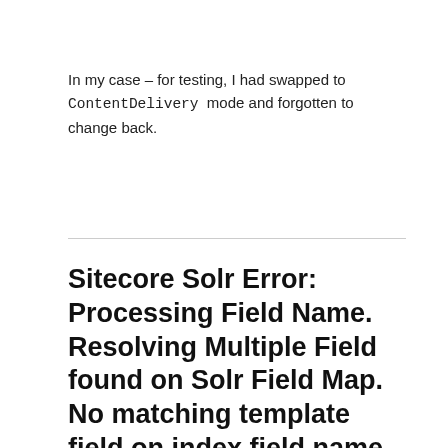In my case – for testing, I had swapped to ContentDelivery mode and forgotten to change back.
Sitecore Solr Error: Processing Field Name. Resolving Multiple Field found on Solr Field Map. No matching template field on index field name, return type 'String' and field type "